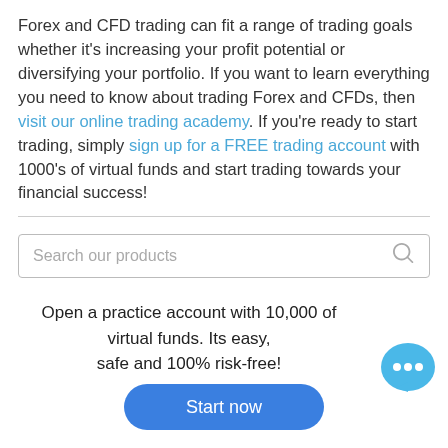Forex and CFD trading can fit a range of trading goals whether it's increasing your profit potential or diversifying your portfolio. If you want to learn everything you need to know about trading Forex and CFDs, then visit our online trading academy. If you're ready to start trading, simply sign up for a FREE trading account with 1000's of virtual funds and start trading towards your financial success!
[Figure (other): Search bar with placeholder text 'Search our products' and a search icon on the right]
Open a practice account with 10,000 of virtual funds. Its easy,
safe and 100% risk-free!
[Figure (other): Blue chat bubble icon with three dots]
Start now